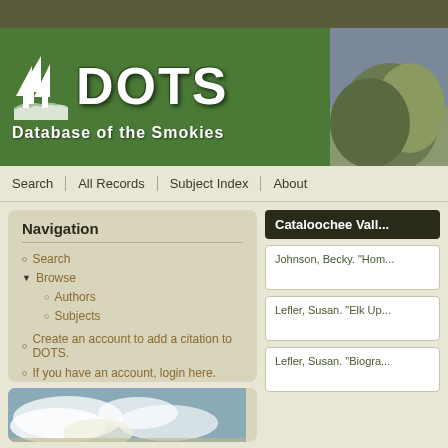[Figure (logo): DOTS - Database of the Smokies green banner logo with tree icons]
Search | All Records | Subject Index | About
Navigation
Search
Browse
Authors
Subjects
Create an account to add a citation to DOTS.
If you have an account, login here.
Cataloochee Vall...
Johnson, Becky. "Hom...
Lefler, Susan. "Elk Up...
Lefler, Susan. "Biogra...
[Figure (photo): Sky with clouds photo]